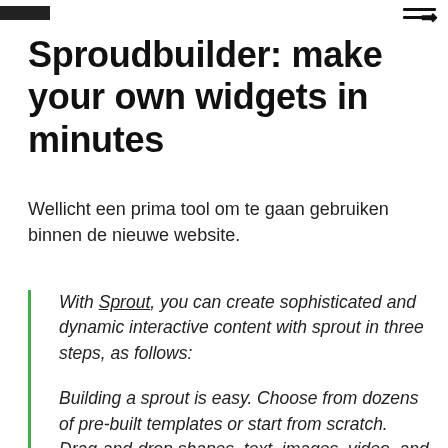Sproudbuilder: make your own widgets in minutes
Wellicht een prima tool om te gaan gebruiken binnen de nieuwe website.
With Sprout, you can create sophisticated and dynamic interactive content with sprout in three steps, as follows:
Building a sprout is easy. Choose from dozens of pre-built templates or start from scratch. Drag-and-drop shapes, text, images, video, and more. Then add components such as slideshows, jukeboxes, and countdown clocks,